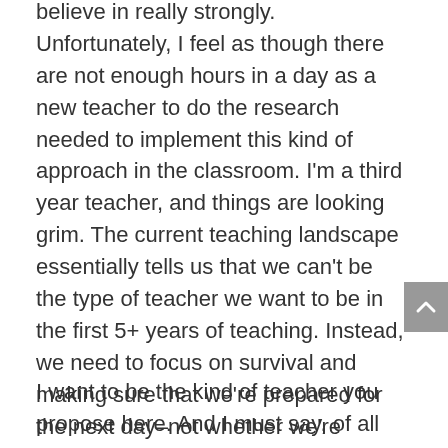believe in really strongly. Unfortunately, I feel as though there are not enough hours in a day as a new teacher to do the research needed to implement this kind of approach in the classroom. I'm a third year teacher, and things are looking grim. The current teaching landscape essentially tells us that we can't be the type of teacher we want to be in the first 5+ years of teaching. Instead, we need to focus on survival and making sure that we're prepared for the next day–not whether we're enjoying or believe in what we're teaching. But I digress.
I want to be the kind of teacher you propose here. And I must say, of all